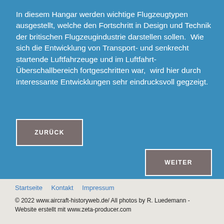In diesem Hangar werden wichtige Flugzeugtypen ausgestellt, welche den Fortschritt in Design und Technik der britischen Flugzeugindustrie darstellen sollen.  Wie sich die Entwicklung von Transport- und senkrecht startende Luftfahrzeuge und im Luftfahrt- Überschallbereich fortgeschritten war,  wird hier durch interessante Entwicklungen sehr eindrucksvoll gegzeigt.
ZURÜCK
WEITER
Startseite   Kontakt   Impressum
© 2022 www.aircraft-historyweb.de/ All photos by R. Luedemann - Website erstellt mit www.zeta-producer.com